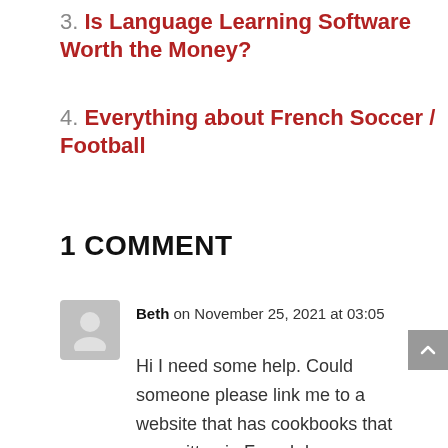3. Is Language Learning Software Worth the Money?
4. Everything about French Soccer / Football
1 COMMENT
Beth on November 25, 2021 at 03:05
Hi I need some help. Could someone please link me to a website that has cookbooks that are written in French language.